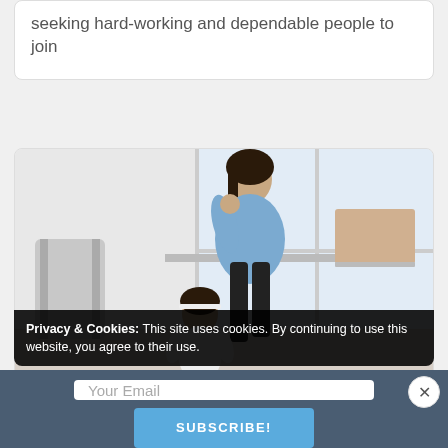seeking hard-working and dependable people to join
[Figure (photo): A woman sitting at a table working on a laptop while a young girl plays below her, set in a bright room with large windows]
Privacy & Cookies: This site uses cookies. By continuing to use this website, you agree to their use.
Your Email
SUBSCRIBE!